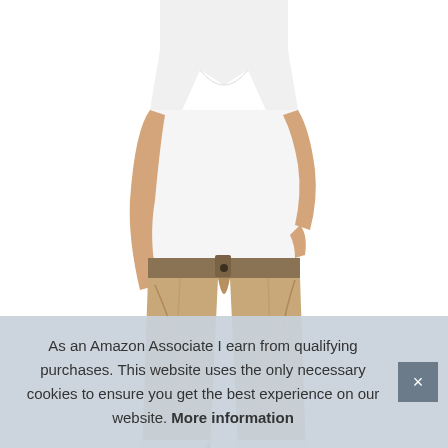[Figure (photo): A person (torso and legs visible) wearing khaki/tan chino pants and a white t-shirt, with one hand in pocket. White background product photo.]
As an Amazon Associate I earn from qualifying purchases. This website uses the only necessary cookies to ensure you get the best experience on our website. More information